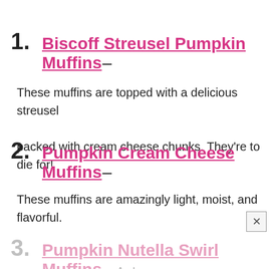1. Biscoff Streusel Pumpkin Muffins– These muffins are topped with a delicious streusel packed with cream cheese chunks. They're to die for!
2. Pumpkin Cream Cheese Muffins– These muffins are amazingly light, moist, and flavorful.
3. Pumpkin Nutella Swirl Muffins– As I